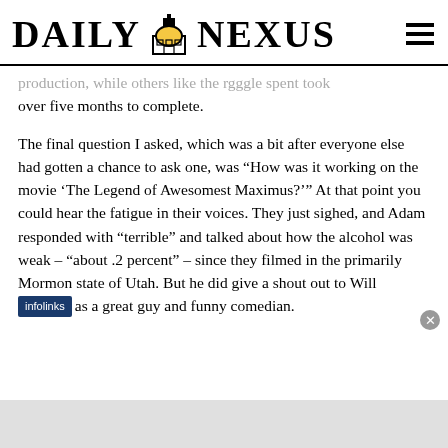DAILY NEXUS
production, while others like the rgggle spent took over five months to complete.
The final question I asked, which was a bit after everyone else had gotten a chance to ask one, was “How was it working on the movie ‘The Legend of Awesomest Maximus?’” At that point you could hear the fatigue in their voices. They just sighed, and Adam responded with “terrible” and talked about how the alcohol was weak – “about .2 percent” – since they filmed in the primarily Mormon state of Utah. But he did give a shout out to Will [infolinks] as a great guy and funny comedian.